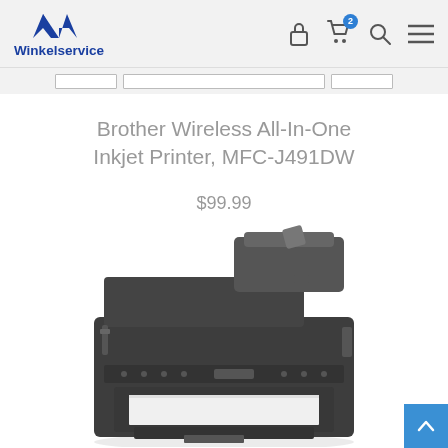Winkelservice
Brother Wireless All-In-One Inkjet Printer, MFC-J491DW
$99.99
[Figure (photo): Brother MFC-J491DW All-In-One Inkjet Printer, dark grey, viewed from front-left angle, showing document feeder on top and paper tray at bottom]